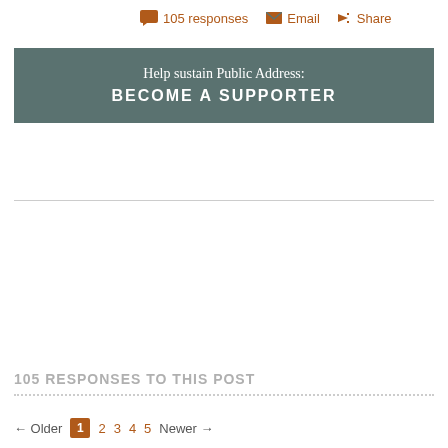105 responses   Email   Share
[Figure (other): Call-to-action banner with teal/slate background. Text: 'Help sustain Public Address: BECOME A SUPPORTER']
105 RESPONSES TO THIS POST
← Older  1  2  3  4  5  Newer →